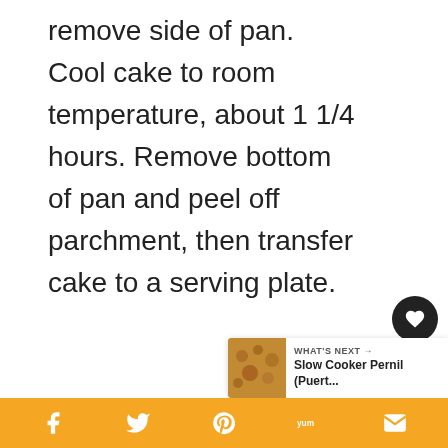remove side of pan. Cool cake to room temperature, about 1 1/4 hours. Remove bottom of pan and peel off parchment, then transfer cake to a serving plate.
[Figure (infographic): Social sharing sidebar with heart/favorite button showing count of 3 and a share icon button]
[Figure (infographic): What's Next panel showing Slow Cooker Pernil (Puert... with a food thumbnail image]
[Figure (infographic): Orange bottom navigation bar with social sharing icons: Facebook, Twitter, Pinterest, Yummly, Email]